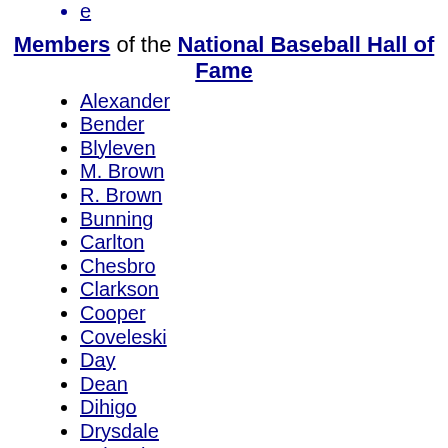e
Members of the National Baseball Hall of Fame
Alexander
Bender
Blyleven
M. Brown
R. Brown
Bunning
Carlton
Chesbro
Clarkson
Cooper
Coveleski
Day
Dean
Dihigo
Drysdale
Eckersley
Faber
Feller
Fingers
Ford